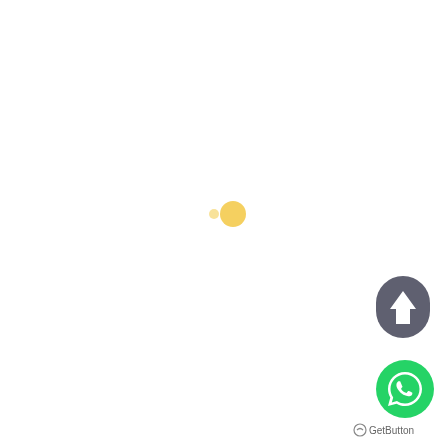[Figure (other): Loading spinner with two yellow dots of different sizes near center of page]
[Figure (other): Dark gray oval scroll-to-top button with white upward arrow icon, positioned bottom right]
[Figure (other): Green circular WhatsApp button with white phone/chat icon, positioned bottom right below scroll button]
[Figure (logo): GetButton logo text in small gray font at very bottom right corner]